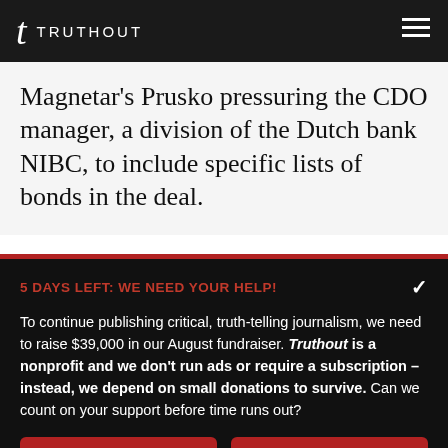TRUTHOUT
Magnetar's Prusko pressuring the CDO manager, a division of the Dutch bank NIBC, to include specific lists of bonds in the deal.
5 DAYS LEFT: WE NEED YOUR HELP!
To continue publishing critical, truth-telling journalism, we need to raise $39,000 in our August fundraiser. Truthout is a nonprofit and we don't run ads or require a subscription – instead, we depend on small donations to survive. Can we count on your support before time runs out?
DONATE
DONATE MONTHLY